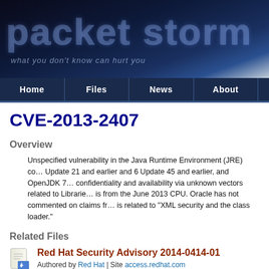[Figure (logo): Packet Storm logo banner with dark blue gradient background, large translucent 'packet storm' text, and tagline 'what you don't know can hurt you']
Home | Files | News | About
CVE-2013-2407
Overview
Unspecified vulnerability in the Java Runtime Environment (JRE) component in Oracle Java SE 7 Update 21 and earlier and 6 Update 45 and earlier, and OpenJDK 7, allows remote attackers to affect confidentiality and availability via unknown vectors related to Libraries, a different vulnerability than CVE-2013-2455. NOTE: this is from the June 2013 CPU. Oracle has not commented on claims from another vendor that this is related to "XML security and the class loader."
Related Files
[Figure (illustration): File icon - a pencil/document icon]
Red Hat Security Advisory 2014-0414-01
Authored by Red Hat | Site access.redhat.com
Red Hat Security Advisory 2014-0414-01 - Oracle Java SE version 6 includes the Oracle Java Runtime Environment and the Oracle Java Software Development Kit. This update fixes several vulnerabilities...